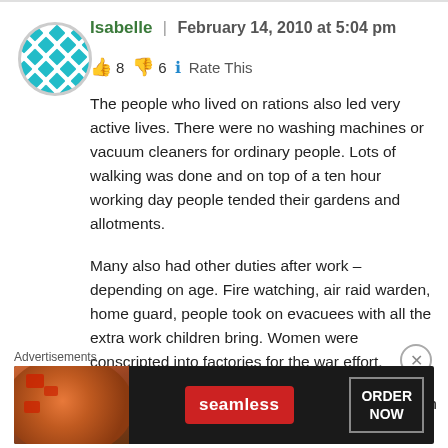[Figure (illustration): Circular avatar icon with a diamond/quilt pattern in teal and white, with gray border]
Isabelle | February 14, 2010 at 5:04 pm
👍 8 👎 6 ℹ Rate This
The people who lived on rations also led very active lives. There were no washing machines or vacuum cleaners for ordinary people. Lots of walking was done and on top of a ten hour working day people tended their gardens and allotments.
Many also had other duties after work – depending on age. Fire watching, air raid warden, home guard, people took on evacuees with all the extra work children bring. Women were conscripted into factories for the war effort.
This is why people were thin, fit and healthy, which
Advertisements
[Figure (illustration): Seamless food delivery advertisement banner with pizza image on left, Seamless red logo in center, and ORDER NOW button on right, dark background]